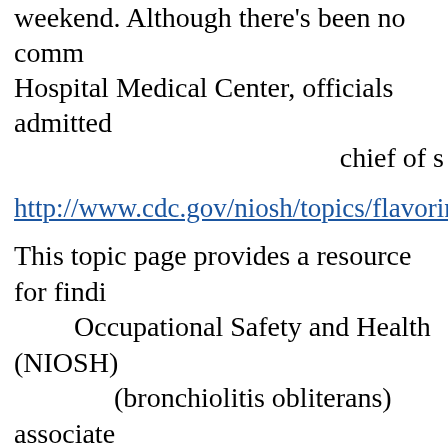weekend. Although there's been no comm Hospital Medical Center, officials admitted chief of s
http://www.cdc.gov/niosh/topics/flavorings/
This topic page provides a resource for findi Occupational Safety and Health (NIOSH) (bronchiolitis obliterans) associate
Background
In August 2000, the Missouri Department of Health in an investigation of bronchiolitis obliterans in form Bronchiolitis obliterans is a serious lung disease tha research performed in collaboration with the microw findings from that research provided a basis for a 20 or Make Flavorings. In addition to the full Alert in E Although much remains unknown regarding the toxi take steps to address working conditions and work p
Flavorings-Related Lung Disease
Microwave popcorn plant and flavoring plant worker